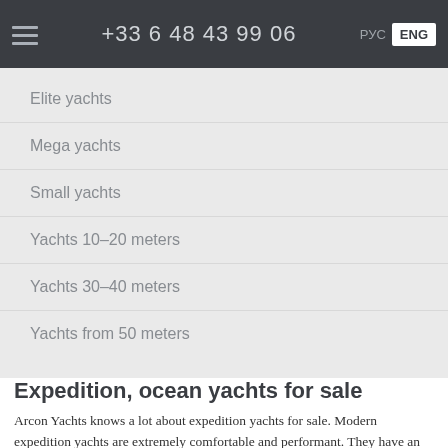+33 6 48 43 99 06  РУС  ENG
Elite yachts
Mega yachts
Small yachts
Yachts 10–20 meters
Yachts 30–40 meters
Yachts from 50 meters
Expedition, ocean yachts for sale
Arcon Yachts knows a lot about expedition yachts for sale. Modern expedition yachts are extremely comfortable and performant. They have an exceptional long range and are autonomous at sea. Taken a lot after trawlers, expedition and fishing vessels, as well as after tow boats these motor yachts enriched themselves with numerous advantages and a strong character. Such as with die-hard displacement hulls made of steel (more rare is aluminum) and a special type of wheelhouse that provides good views even at bad